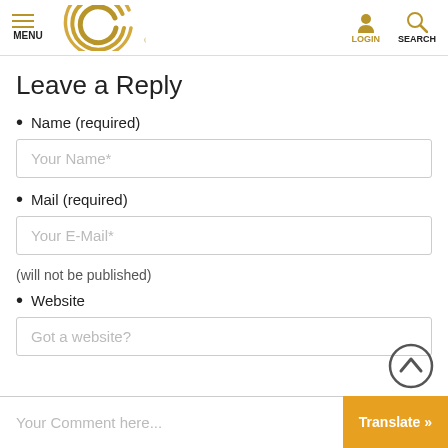MENU | [CC Logo] | LOGIN | SEARCH
Leave a Reply
Name (required)
Your Name*
Mail (required)
Your E-Mail*
(will not be published)
Website
Got a website?
Your Comment here...
Translate »